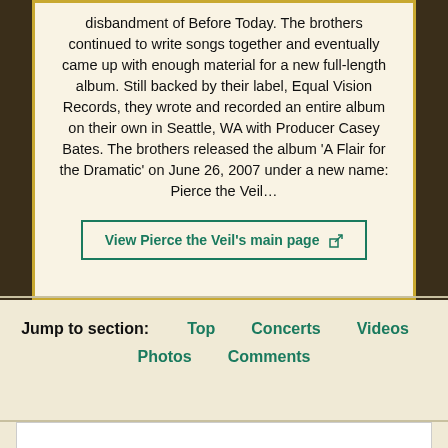disbandment of Before Today. The brothers continued to write songs together and eventually came up with enough material for a new full-length album. Still backed by their label, Equal Vision Records, they wrote and recorded an entire album on their own in Seattle, WA with Producer Casey Bates. The brothers released the album 'A Flair for the Dramatic' on June 26, 2007 under a new name: Pierce the Veil...
View Pierce the Veil's main page
Jump to section:   Top   Concerts   Videos   Photos   Comments